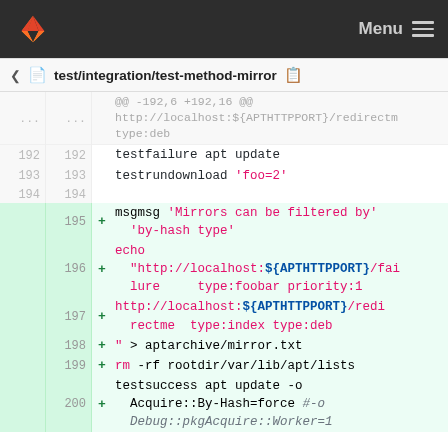GitLab header with logo and Menu
test/integration/test-method-mirror
@@ -192,6 +192,16 @@
http://localhost:${APTHTTPPORT}/redirectm
type:deb
192 192 testfailure apt update
193 193 testrundownload 'foo=2'
194 194
195 + msgmsg 'Mirrors can be filtered by' 'by-hash type'
196 + echo "http://localhost:${APTHTTPPORT}/failure    type:foobar priority:1
197 + http://localhost:${APTHTTPPORT}/redirectme  type:index type:deb
198 + " > aptarchive/mirror.txt
199 + rm -rf rootdir/var/lib/apt/lists
200 + testsuccess apt update -o Acquire::By-Hash=force #-o Debug::pkgAcquire::Worker=1